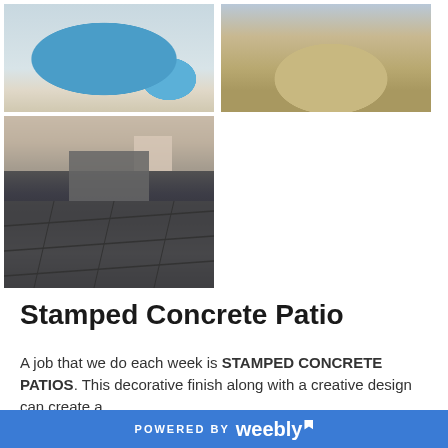[Figure (photo): Aerial view of a swimming pool with hot tub, white/light concrete surround, blue water, desert landscaping]
[Figure (photo): Stamped concrete patio area with curved design around pool, tan/beige color, construction phase]
[Figure (photo): Interior patio with dark decorative stamped concrete floor, hot tub, outdoor kitchen area]
Stamped Concrete Patio
A job that we do each week is STAMPED CONCRETE PATIOS. This decorative finish along with a creative design can create a
POWERED BY weebly